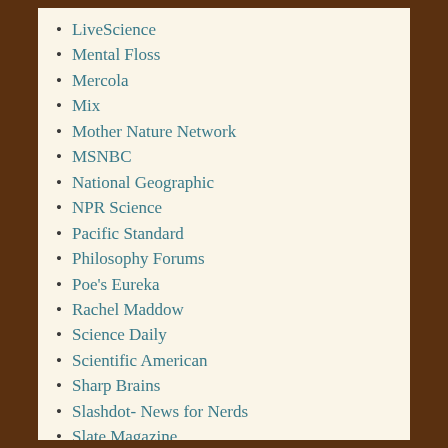LiveScience
Mental Floss
Mercola
Mix
Mother Nature Network
MSNBC
National Geographic
NPR Science
Pacific Standard
Philosophy Forums
Poe's Eureka
Rachel Maddow
Science Daily
Scientific American
Sharp Brains
Slashdot- News for Nerds
Slate Magazine
Smithsonian
The Guardian-Science
The Highly Sensitive Person
The Oatmeal
The Onion